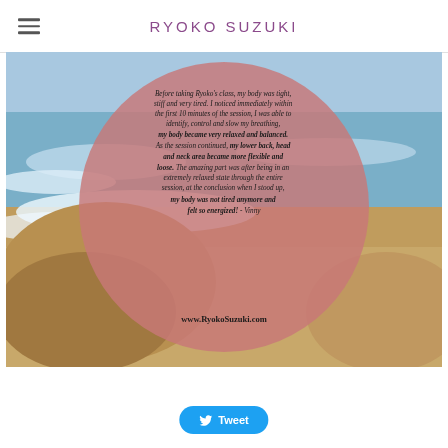RYOKO SUZUKI
[Figure (photo): Beach scene with ocean waves and sand in the background. A large pink/rose-colored circular overlay contains a testimonial quote in italic text. The quote reads: 'Before taking Ryoko's class, my body was tight, stiff and very tired. I noticed immediately within the first 10 minutes of the session, I was able to identify, control and slow my breathing, my body became very relaxed and balanced. As the session continued, my lower back, head and neck area became more flexible and loose. The amazing part was after being in an extremely relaxed state through the entire session, at the conclusion when I stood up, my body was not tired anymore and felt so energized! - Vinny' and 'www.RyokoSuzuki.com']
Tweet